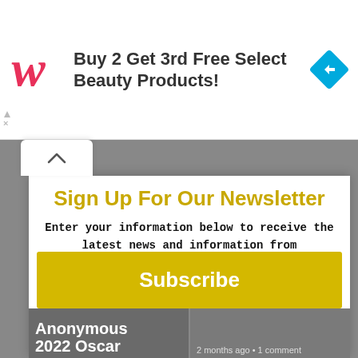[Figure (logo): Walgreens stylized W logo in red/pink script]
Buy 2 Get 3rd Free Select Beauty Products!
[Figure (illustration): Blue diamond navigation icon with white arrow]
Sign Up For Our Newsletter
Enter your information below to receive the latest news and information from NextBestPicture.com
First
Last
Email Address
Subscribe
Anonymous
2022 Oscar
2 months ago • 1 comment